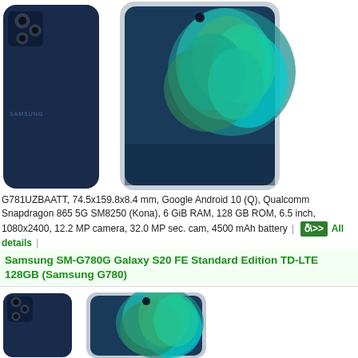[Figure (photo): Samsung Galaxy S20 FE smartphone shown from back and front, navy blue color, with triple camera and flower wallpaper]
G781UZBAATT, 74.5x159.8x8.4 mm, Google Android 10 (Q), Qualcomm Snapdragon 865 5G SM8250 (Kona), 6 GiB RAM, 128 GB ROM, 6.5 inch, 1080x2400, 12.2 MP camera, 32.0 MP sec. cam, 4500 mAh battery | All details |
Add to compare
Samsung SM-G780G Galaxy S20 FE Standard Edition TD-LTE 128GB (Samsung G780)
[Figure (photo): Samsung SM-G780G Galaxy S20 FE smartphone shown from back and front, navy blue color, with triple camera and flower wallpaper]